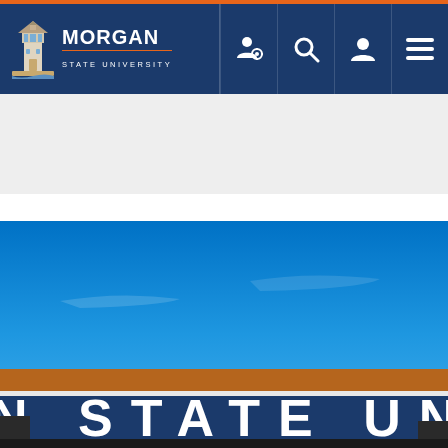Morgan State University navigation header with logo and nav icons
[Figure (photo): Photograph of Morgan State University campus building/arch viewed from outside under bright blue sky, showing the lettering 'N STATE UNIVER' on a blue structure with brown/orange accents]